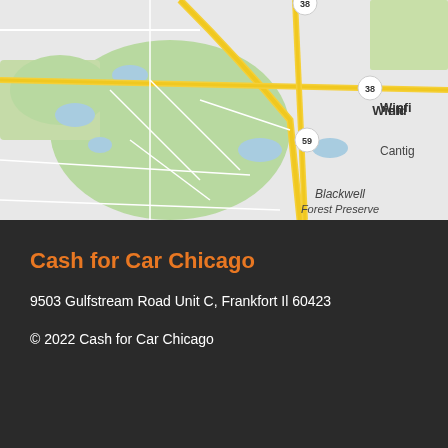[Figure (map): Google Maps screenshot showing area around Winfield, Cantigny, and Blackwell Forest Preserve in Illinois. Roads 38 and 59 are visible. Green areas represent parks/forest preserves.]
Cash for Car Chicago
9503 Gulfstream Road Unit C, Frankfort Il 60423
© 2022 Cash for Car Chicago